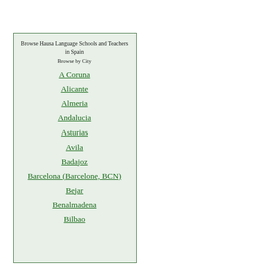Browse Hausa Language Schools and Teachers in Spain
Browse by City
A Coruna
Alicante
Almeria
Andalucia
Asturias
Avila
Badajoz
Barcelona (Barcelone, BCN)
Bejar
Benalmadena
Bilbao